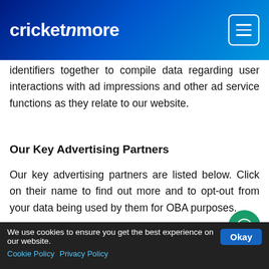cricketnmore
identifiers together to compile data regarding user interactions with ad impressions and other ad service functions as they relate to our website.
Our Key Advertising Partners
Our key advertising partners are listed below. Click on their name to find out more and to opt-out from your data being used by them for OBA purposes.
Colombia
Our monetization partner Times Internet Ltd, are covered by the
We use cookies to ensure you get the best experience on our website. Cookie Policy Privacy Policy